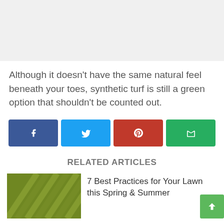[Figure (photo): Light gray placeholder image area at top of page]
Although it doesn't have the same natural feel beneath your toes, synthetic turf is still a green option that shouldn't be counted out.
[Figure (infographic): Social sharing buttons: Facebook (blue), Twitter (light blue), Pinterest (red), Email (green)]
RELATED ARTICLES
[Figure (photo): Thumbnail photo of green lawn with mowing stripes]
7 Best Practices for Your Lawn this Spring & Summer